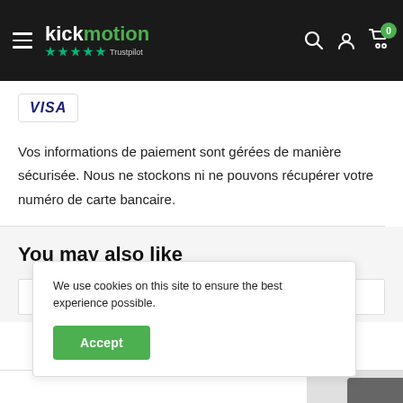kickmotion — Trustpilot 5 stars
[Figure (logo): VISA card logo badge]
Vos informations de paiement sont gérées de manière sécurisée. Nous ne stockons ni ne pouvons récupérer votre numéro de carte bancaire.
You may also like
We use cookies on this site to ensure the best experience possible.
Accept